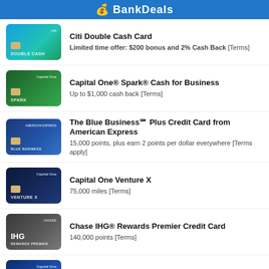BankDeals
Citi Double Cash Card — Limited time offer: $200 bonus and 2% Cash Back [Terms]
Capital One® Spark® Cash for Business — Up to $1,000 cash back [Terms]
The Blue Business℠ Plus Credit Card from American Express — 15,000 points, plus earn 2 points per dollar everywhere [Terms apply]
Capital One Venture X — 75,000 miles [Terms]
Chase IHG® Rewards Premier Credit Card — 140,000 points [Terms]
Capital One® Venture® Rewards Credit Card — 75,000 miles [Terms]
Marriott Bonvoy Business™ American Express® Card — 75,000 points [Terms apply]